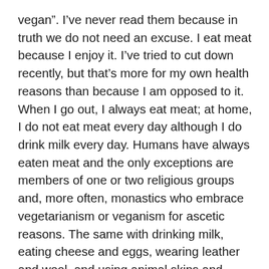vegan”. I’ve never read them because in truth we do not need an excuse. I eat meat because I enjoy it. I’ve tried to cut down recently, but that’s more for my own health reasons than because I am opposed to it. When I go out, I always eat meat; at home, I do not eat meat every day although I do drink milk every day. Humans have always eaten meat and the only exceptions are members of one or two religious groups and, more often, monastics who embrace vegetarianism or veganism for ascetic reasons. The same with drinking milk, eating cheese and eggs, wearing leather and wool, and using animal skins and fleeces for warmth. We have always got most of the protein in our diet from meat, milk and eggs. True, in other countries, soya and pulses are plentiful, but they are much less so here. In many parts of the UK, the soil is not much use for anything except pasture for sheep.